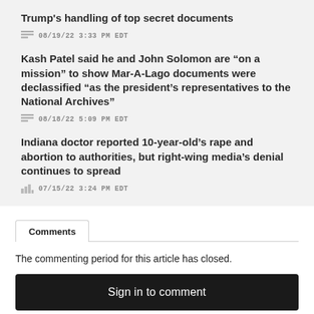Trump's handling of top secret documents
08/19/22 3:33 PM EDT
Kash Patel said he and John Solomon are “on a mission” to show Mar-A-Lago documents were declassified “as the president’s representatives to the National Archives”
08/18/22 5:09 PM EDT
Indiana doctor reported 10-year-old’s rape and abortion to authorities, but right-wing media’s denial continues to spread
07/15/22 3:24 PM EDT
Comments
The commenting period for this article has closed.
Sign in to comment